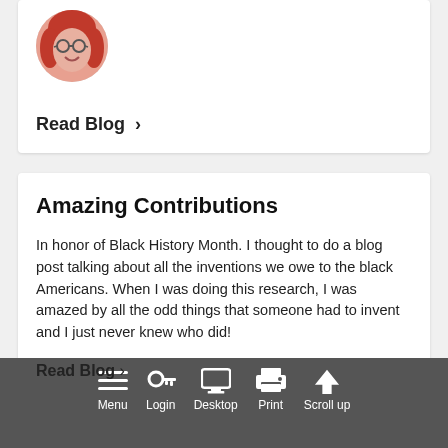[Figure (photo): Circular avatar photo of a woman with red hair and glasses, smiling]
Read Blog >
Amazing Contributions
In honor of Black History Month. I thought to do a blog post talking about all the inventions we owe to the black Americans. When I was doing this research, I was amazed by all the odd things that someone had to invent and I just never knew who did!
[Figure (photo): Circular avatar photo of a man wearing a black hat and dark suit]
Read Blog >
Menu  Login  Desktop  Print  Scroll up